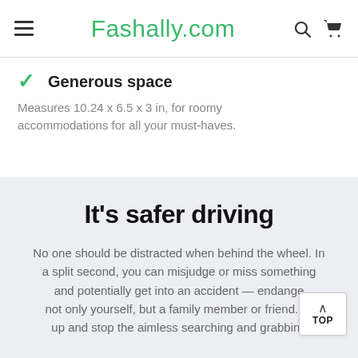Fashally.com
Generous space
Measures 10.24 x 6.5 x 3 in, for roomy accommodations for all your must-haves.
It's safer driving
No one should be distracted when behind the wheel. In a split second, you can misjudge or miss something and potentially get into an accident — endange not only yourself, but a family member or friend. W up and stop the aimless searching and grabbing